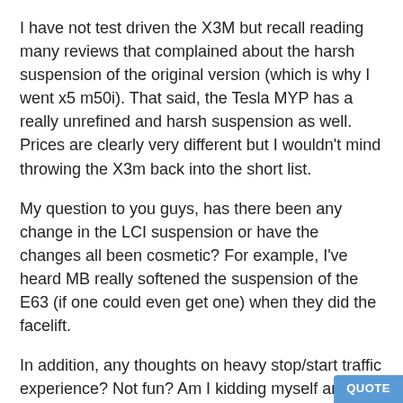I have not test driven the X3M but recall reading many reviews that complained about the harsh suspension of the original version (which is why I went x5 m50i). That said, the Tesla MYP has a really unrefined and harsh suspension as well. Prices are clearly very different but I wouldn't mind throwing the X3m back into the short list.
My question to you guys, has there been any change in the LCI suspension or have the changes all been cosmetic? For example, I've heard MB really softened the suspension of the E63 (if one could even get one) when they did the facelift.
In addition, any thoughts on heavy stop/start traffic experience? Not fun? Am I kidding myself and really for a daily driver, should I just get an expendable x3 m40i?
Thanks in advance.